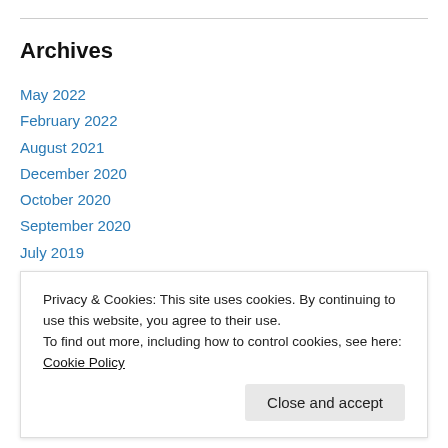Archives
May 2022
February 2022
August 2021
December 2020
October 2020
September 2020
July 2019
June 2019
May 2019
April 2019
January 2018
Privacy & Cookies: This site uses cookies. By continuing to use this website, you agree to their use.
To find out more, including how to control cookies, see here: Cookie Policy